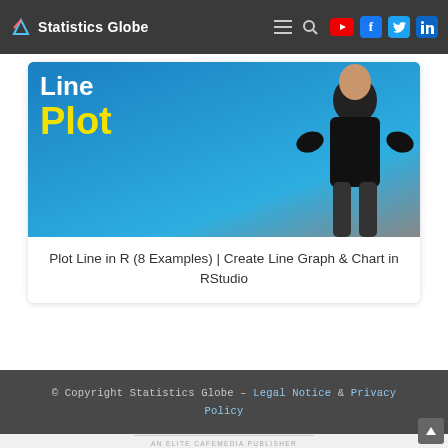Statistics Globe
[Figure (screenshot): Thumbnail image with blue background showing text 'Line Plot' in white and yellow, with a person flexing in a black shirt]
Plot Line in R (8 Examples) | Create Line Graph & Chart in RStudio
© Copyright Statistics Globe – Legal Notice & Privacy Policy
AN ELITE CAFEMEDIA PUBLISHER